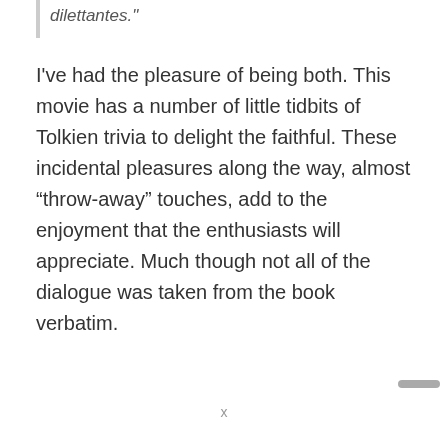dilettantes.
I've had the pleasure of being both. This movie has a number of little tidbits of Tolkien trivia to delight the faithful. These incidental pleasures along the way, almost “throw-away” touches, add to the enjoyment that the enthusiasts will appreciate. Much though not all of the dialogue was taken from the book verbatim.
x